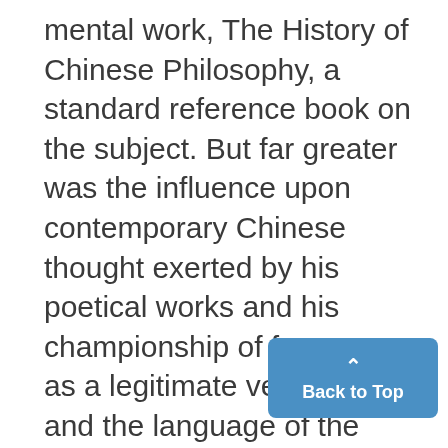mental work, The History of Chinese Philosophy, a standard reference book on the subject. But far greater was the influence upon contemporary Chinese thought exerted by his poetical works and his championship of free verse as a legitimate verse form and the language of the common people as the language of literature. The reform movement awakened by his "literary revolution" spread into other fields and resulted in a major cultural movement, known as the Chinese Renaissance.